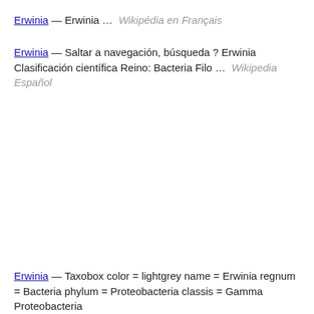Erwinia — Erwinia … Wikipédia en Français
Erwinia — Saltar a navegación, búsqueda ? Erwinia Clasificación científica Reino: Bacteria Filo … Wikipedia Español
Erwinia — Taxobox color = lightgrey name = Erwinia regnum = Bacteria phylum = Proteobacteria classis = Gamma Proteobacteria